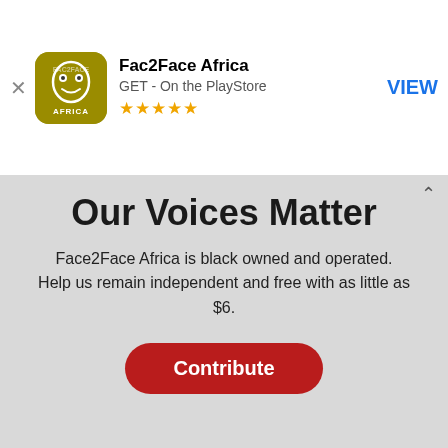[Figure (logo): Fac2Face Africa app icon - golden/olive square with stylized face logo and AFRICA text below]
Fac2Face Africa
GET - On the PlayStore
★★★★★
VIEW
Our Voices Matter
Face2Face Africa is black owned and operated.
Help us remain independent and free with as little as $6.
Contribute
[Figure (photo): Partial image of people, colorful clothing visible at top]
We use cookies to collect and analyse information on site performance and usage, and to enhance and customise content and advertisements. By Clicking "Accept" or by clicking into any content on this site, you agree to allow cookies to be placed. To find out more, read our privacy policy.
ACCEPT